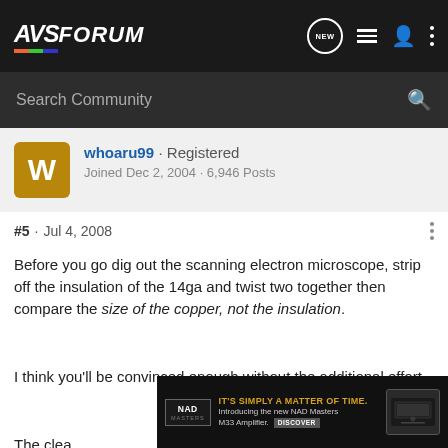AVSForum
Search Community
whoaru99 · Registered
Joined Dec 2, 2004 · 6,946 Posts
#5 · Jul 4, 2008
Before you go dig out the scanning electron microscope, strip off the insulation of the 14ga and twist two together then compare the size of the copper, not the insulation.
I think you'll be convinced enough without the additional effort.
The clea... hat will be a lar... re
[Figure (screenshot): NAD advertisement banner: IT'S SIMPLY A MATTER OF TIME. Introducing the new NAD Masters M33 Amplifier. DISCOVER]